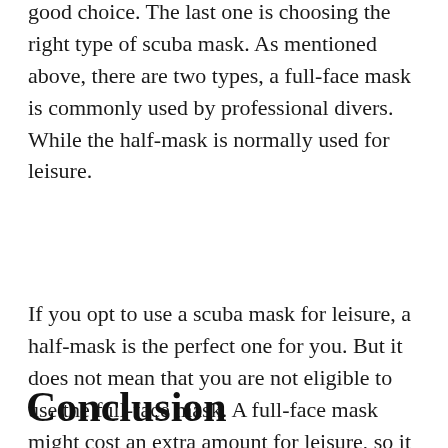good choice. The last one is choosing the right type of scuba mask. As mentioned above, there are two types, a full-face mask is commonly used by professional divers. While the half-mask is normally used for leisure.
If you opt to use a scuba mask for leisure, a half-mask is the perfect one for you. But it does not mean that you are not eligible to use the full-face mask. A full-face mask might cost an extra amount for leisure, so it is recommended than the half-mask, since it is still considered to be a perfect type for a fun and wonderful scuba diving experience.
Conclusion